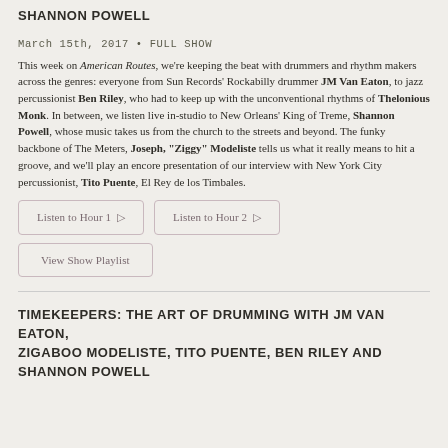SHANNON POWELL
March 15th, 2017 • FULL SHOW
This week on American Routes, we're keeping the beat with drummers and rhythm makers across the genres: everyone from Sun Records' Rockabilly drummer JM Van Eaton, to jazz percussionist Ben Riley, who had to keep up with the unconventional rhythms of Thelonious Monk. In between, we listen live in-studio to New Orleans' King of Treme, Shannon Powell, whose music takes us from the church to the streets and beyond. The funky backbone of The Meters, Joseph, "Ziggy" Modeliste tells us what it really means to hit a groove, and we'll play an encore presentation of our interview with New York City percussionist, Tito Puente, El Rey de los Timbales.
Listen to Hour 1
Listen to Hour 2
View Show Playlist
TIMEKEEPERS: THE ART OF DRUMMING WITH JM VAN EATON, ZIGABOO MODELISTE, TITO PUENTE, BEN RILEY AND SHANNON POWELL